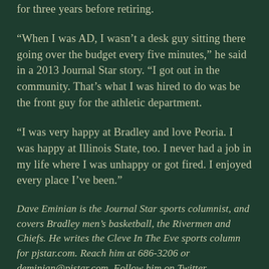for three years before retiring.
“When I was AD, I wasn’t a desk guy sitting there going over the budget every five minutes,” he said in a 2013 Journal Star story. “I got out in the community. That’s what I was hired to do was be the front guy for the athletic department.
“I was very happy at Bradley and love Peoria. I was happy at Illinois State, too. I never had a job in my life where I was unhappy or got fired. I enjoyed every place I’ve been.”
Dave Eminian is the Journal Star sports columnist, and covers Bradley men’s basketball, the Rivermen and Chiefs. He writes the Cleve In The Eve sports column for pjstar.com. Reach him at 686-3206 or deminian@pjstar.com. Follow him on Twitter @icetimecleve.